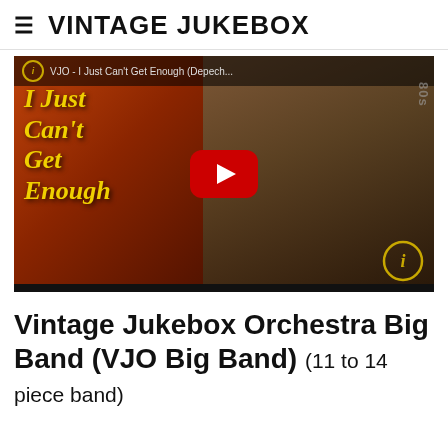≡ VINTAGE JUKEBOX
[Figure (screenshot): YouTube video thumbnail showing 'I Just Can't Get Enough' by VJO Big Band (Depeche Mode cover), with yellow italic text overlay on a warm orange/red background, a man in a suit visible on the right half, a red YouTube play button in the center, VJO circular logo badge in bottom right, and a top bar showing 'VJO - I Just Can't Get Enough (Depech...' text.]
Vintage Jukebox Orchestra Big Band (VJO Big Band) (11 to 14 piece band)